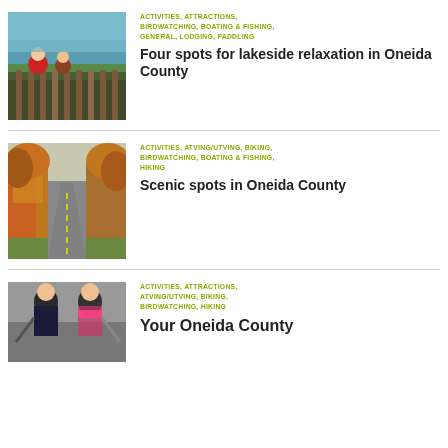[Figure (photo): People sitting at a wooden dock/railing overlooking a lake, aerial/water view]
ACTIVITIES, ATTRACTIONS, BIRDWATCHING, BOATING & FISHING, GENERAL, LODGING, PADDLING
Four spots for lakeside relaxation in Oneida County
[Figure (photo): A scenic road lined with autumn-colored trees in Oneida County]
ACTIVITIES, ATVING/UTVING, BIKING, BIRDWATCHING, BOATING & FISHING, HIKING
Scenic spots in Oneida County
[Figure (photo): Two people cross-country skiing, wearing winter gear]
ACTIVITIES, ATTRACTIONS, ATVING/UTVING, BIKING, BIRDWATCHING, HIKING
Your Oneida County